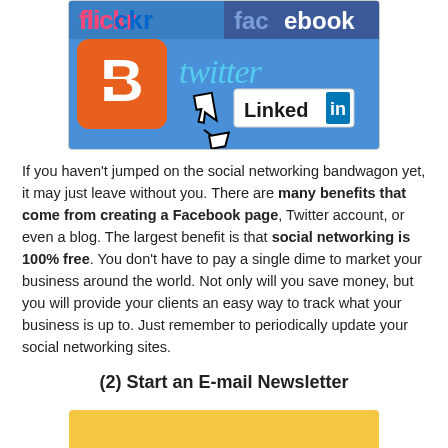[Figure (illustration): Social networking logos illustration showing Flickr, Facebook, Blogger (orange B icon), Twitter (blue cursive text), LinkedIn (white box with blue 'in'), and a cursor/hand pointer icon clicking on them.]
If you haven't jumped on the social networking bandwagon yet, it may just leave without you. There are many benefits that come from creating a Facebook page, Twitter account, or even a blog. The largest benefit is that social networking is 100% free. You don't have to pay a single dime to market your business around the world. Not only will you save money, but you will provide your clients an easy way to track what your business is up to. Just remember to periodically update your social networking sites.
(2) Start an E-mail Newsletter
[Figure (illustration): Bottom of page showing start of a yellow/gold colored image, likely an email newsletter illustration.]